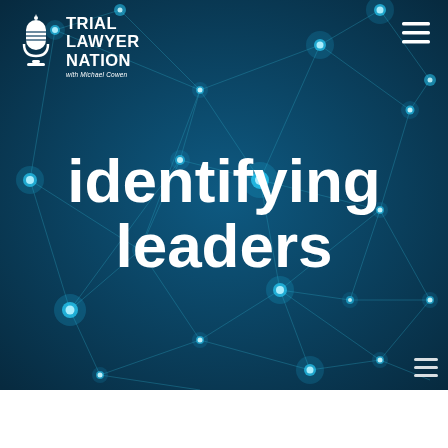[Figure (logo): Trial Lawyer Nation podcast logo with microphone icon and text 'TRIAL LAWYER NATION with Michael Cowen']
identifying leaders